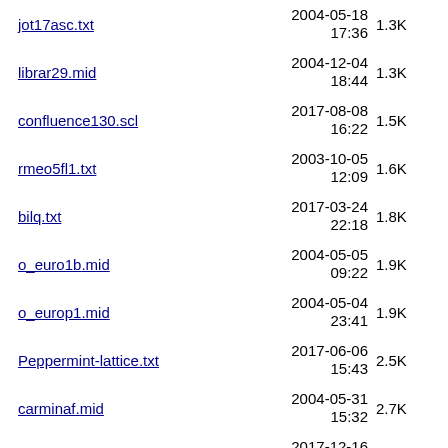jot17asc.txt   2004-05-18 17:36   1.3K
librar29.mid   2004-12-04 18:44   1.3K
confluence130.scl   2017-08-08 16:22   1.5K
rmeo5fl1.txt   2003-10-05 12:09   1.6K
bilq.txt   2017-03-24 22:18   1.8K
o_euro1b.mid   2004-05-05 09:22   1.9K
o_europ1.mid   2004-05-04 23:41   1.9K
Peppermint-lattice.txt   2017-06-06 15:43   2.5K
carminaf.mid   2004-05-31 15:32   2.7K
archagall_spinoff-17..>   2017-12-16 23:01   2.7K
archagall_spinoff.txt   2017-12-16 23:03   2.7K